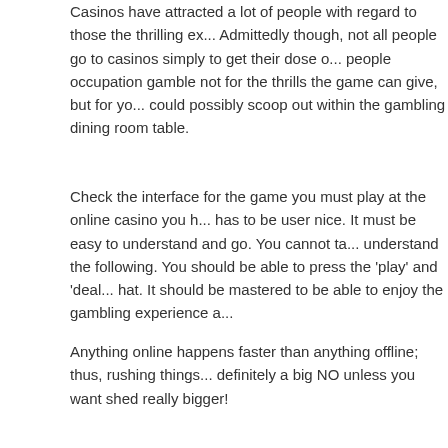Casinos have attracted a lot of people with regard to those the thrilling ex... Admittedly though, not all people go to casinos simply to get their dose o... people occupation gamble not for the thrills the game can give, but for yo... could possibly scoop out within the gambling dining room table.
Check the interface for the game you must play at the online casino you h... has to be user nice. It must be easy to understand and go. You cannot ta... understand the following. You should be able to press the 'play' and 'deal... hat. It should be mastered to be able to enjoy the gambling experience a...
Anything online happens faster than anything offline; thus, rushing things... definitely a big NO unless you want shed really bigger!
I been recently traveling to Nevada countless soft drinks and cannot help... decline in the sophistication for the average Casino player. I will remembe... games, roulette, blackjack and the crap tables earned 80%-90% of a cas... machines earned the additional 10%-20%. Today the whole process is re... responsible for 80%-90% of the casino's income and the tables are respo... remains.
Most casinos only allow visitors aged 21 and above. Bringing along prago... cause you hassle and discomfort to the fact that you have end your youn... place else.